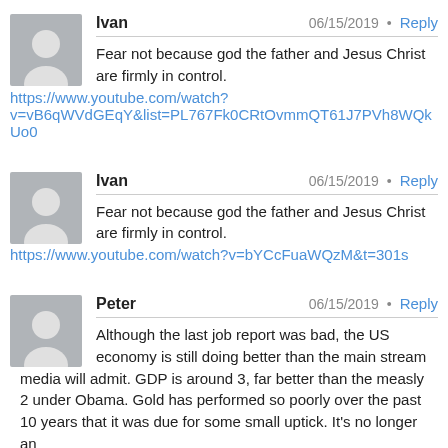Ivan — 06/15/2019 • Reply
Fear not because god the father and Jesus Christ are firmly in control.
https://www.youtube.com/watch?v=vB6qWVdGEqY&list=PL767Fk0CRtOvmmQT61J7PVh8WQkUo0
Ivan — 06/15/2019 • Reply
Fear not because god the father and Jesus Christ are firmly in control.
https://www.youtube.com/watch?v=bYCcFuaWQzM&t=301s
Peter — 06/15/2019 • Reply
Although the last job report was bad, the US economy is still doing better than the main stream media will admit. GDP is around 3, far better than the measly 2 under Obama. Gold has performed so poorly over the past 10 years that it was due for some small uptick. It's no longer an inflation hedge, and bitcoin...